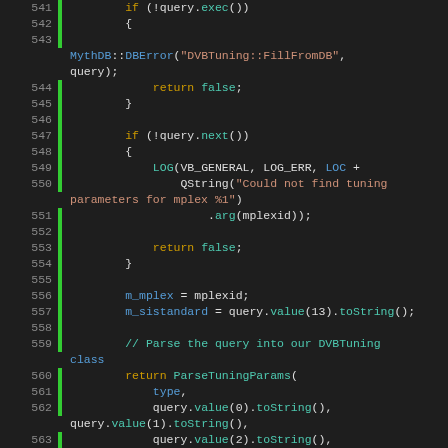[Figure (screenshot): Source code screenshot showing C++ code lines 541-566 for DVBTuning::FillFromDB function, with syntax highlighting on dark background. Lines show database query execution, error handling, and ParseTuningParams call.]